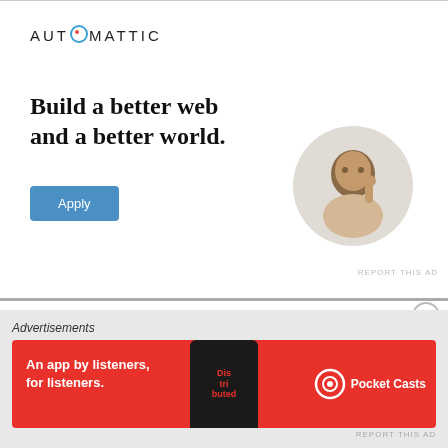[Figure (illustration): Automattic advertisement banner: logo at top, bold headline 'Build a better web and a better world.', Apply button, and circular photo of a man thinking at a desk]
PIXYSGROUP SCS
boulevard Mettewie 89/42
1080 Bruxelles
Advertisements
[Figure (illustration): Pocket Casts advertisement: red banner reading 'An app by listeners, for listeners.' with phone graphic and Pocket Casts logo]